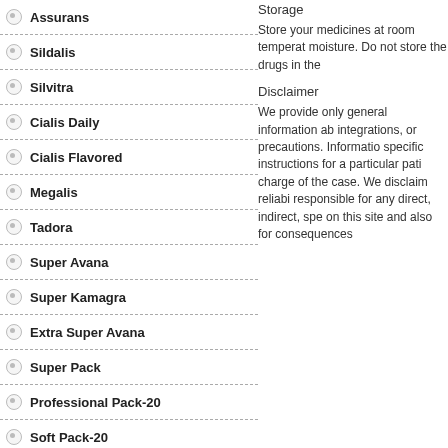Assurans
Sildalis
Silvitra
Cialis Daily
Cialis Flavored
Megalis
Tadora
Super Avana
Super Kamagra
Extra Super Avana
Super Pack
Professional Pack-20
Soft Pack-20
Super Active Pack-20
Viagra Pack-30
Levitra Pack-30
Storage
Store your medicines at room temperature moisture. Do not store the drugs in the
Disclaimer
We provide only general information ab integrations, or precautions. Information specific instructions for a particular pati charge of the case. We disclaim reliabi responsible for any direct, indirect, spe on this site and also for consequences